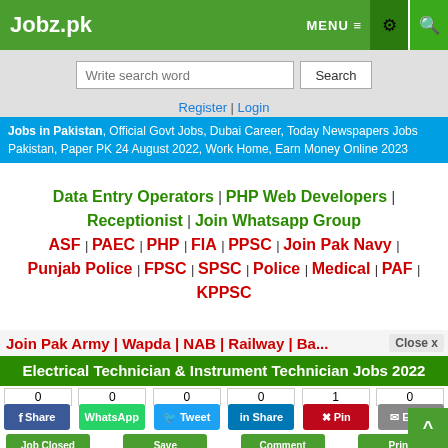Jobz.pk — MENU ≡ ⚙ 🔍
Write search word | Search
Register | Login
Jobs in Pakistan, Official Govt Jobs, Dubai Career, Today Newspapers Jobs Pakistan, Paper PK 24 August 2022, Work Home, Earn Money Online 2023
Data Entry Operators | PHP Web Developers | Receptionist | Join Whatsapp Group | ASF | PAEC | PHP | FIA | PPSC | Join Pak Navy | Punjab Police | FPSC | SPSC | Police | Medical | PAF | KPPSC | Join Pak Army | Wapda | NAB | Railway | Ba...
Close x
Electrical Technician & Instrument Technician Jobs 2022
0 Share | 0 WhatsApp | 0 Tweet | 0 Share | 1 Pin | 0 Email
Job Closed | Save | Comment | Print